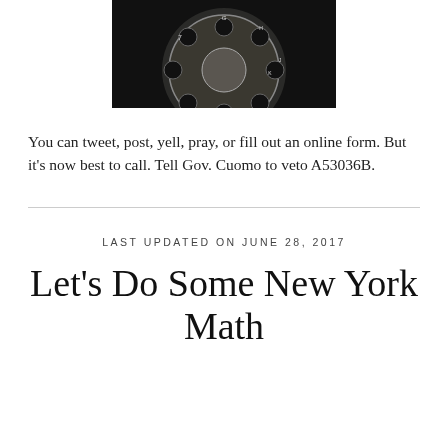[Figure (photo): Close-up photo of a rotary telephone dial, black and white/sepia toned, showing the circular dial with finger holes and letter/number markings (G, H, J, K visible)]
You can tweet, post, yell, pray, or fill out an online form. But it's now best to call. Tell Gov. Cuomo to veto A53036B.
LAST UPDATED ON JUNE 28, 2017
Let's Do Some New York Math